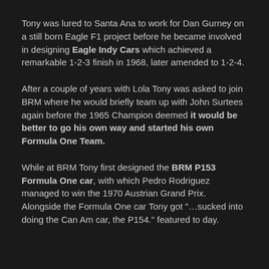Tony was lured to Santa Ana to work for Dan Gurney on a still born Eagle F1 project before he became involved in designing Eagle Indy Cars which achieved a remarkable 1-2-3 finish in 1968, later amended to 1-2-4.
After a couple of years with Lola Tony was asked to join BRM where he would briefly team up with John Surtees again before the 1965 Champion deemed it would be better to go his own way and started his own Formula One Team.
While at BRM Tony first designed the BRM P153 Formula One car, with which Pedro Rodriguez managed to win the 1970 Austrian Grand Prix. Alongside the Formula One car Tony got "...sucked into doing the Can Am car, the P154." featured to day.